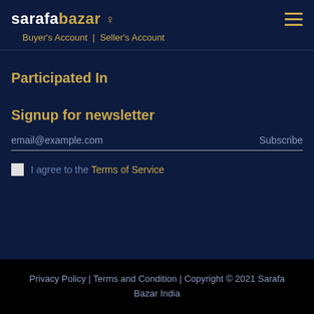sarafa bazar ♀ | Buyer's Account | Seller's Account
Participated In
Signup for newsletter
email@example.com  Subscribe
I agree to the Terms of Service
Privacy Policy | Terms and Condition | Copyright © 2021 Sarafa Bazar India